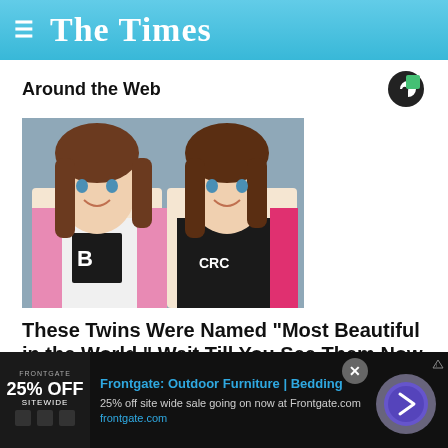The Times
Around the Web
[Figure (photo): Two young girls with long brown wavy hair smiling at the camera, wearing stylish outfits with graphic text]
These Twins Were Named "Most Beautiful in the World," Wait Till You See Them Now
Frontgate: Outdoor Furniture | Bedding
25% off site wide sale going on now at Frontgate.com
frontgate.com